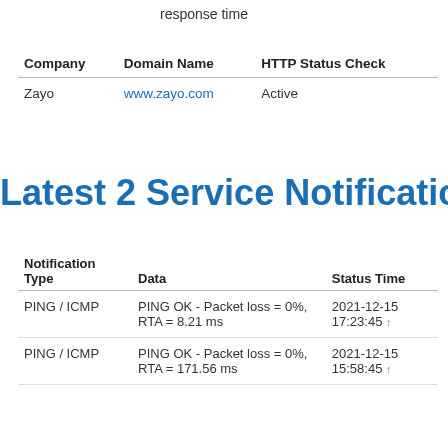response time
| Company | Domain Name | HTTP Status Check |
| --- | --- | --- |
| Zayo | www.zayo.com | Active |
Latest 2 Service Notifications
| Notification Type | Data | Status Time |
| --- | --- | --- |
| PING / ICMP | PING OK - Packet loss = 0%, RTA = 8.21 ms | 2021-12-15 17:23:45 ↑ |
| PING / ICMP | PING OK - Packet loss = 0%, RTA = 171.56 ms | 2021-12-15 15:58:45 ↑ |